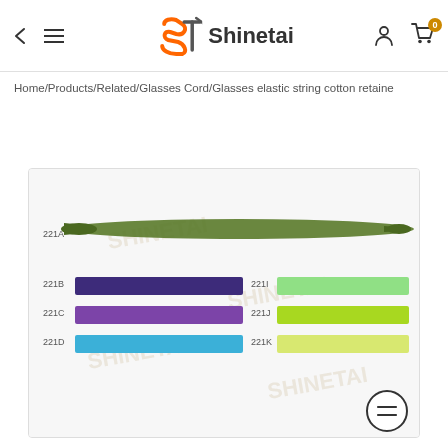Shinetai — navigation header with back arrow, menu, logo, user icon, cart (0)
Home/Products/Related/Glasses Cord/Glasses elastic string cotton retaine
[Figure (photo): Product photo showing multiple glasses elastic string cord samples in different colors labeled 221A (olive green, full length cord), 221B (dark purple bar), 221C (purple/violet bar), 221D (sky blue bar), 221I (light green bar), 221J (lime green bar), 221K (yellow-green bar) on a white background with Shinetai watermark]